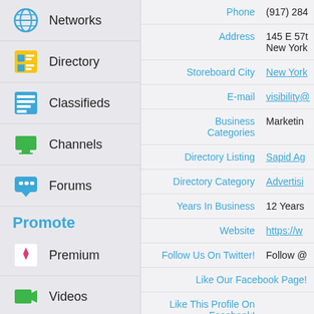Networks
Directory
Classifieds
Channels
Forums
Promote
Premium
Videos
Blogs
Images
| Field | Value |
| --- | --- |
| Phone | (917) 284… |
| Address | 145 E 57t…
New York… |
| Storeboard City | New York… |
| E-mail | visibility@… |
| Business Categories | Marketing… |
| Directory Listing | Sapid Ag… |
| Directory Category | Advertisi… |
| Years In Business | 12 Years |
| Website | https://w… |
| Follow Us On Twitter! | Follow @… |
| Like Our Facebook Page! |  |
| Like This Profile On Facebook! |  |
| Hours | Monday
Tuesday
Wednes… |